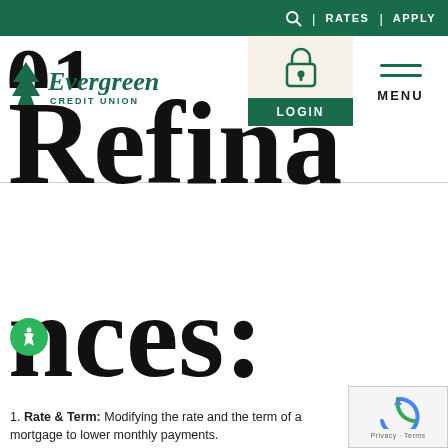RATES | APPLY
[Figure (logo): Evergreen Credit Union logo with pine tree icon]
[Figure (screenshot): Login button with padlock icon and Menu button with hamburger lines]
Refinances:
1. Rate & Term: Modifying the rate and the term of a mortgage to lower monthly payments.
[Figure (other): reCAPTCHA badge - Privacy · Terms]